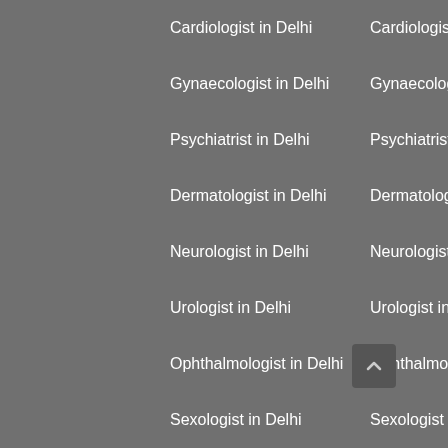Cardiologist in Delhi
Cardiologist in Mumbai
Cardiologist in Chennai
Cardiologist in Bangalore
Gynaecologist in Delhi
Gynaecologist in Mumbai
Gynaecologist in Chennai
Gynaecologist in Bangalore
Psychiatrist in Delhi
Psychiatrist in Mumbai
Psychiatrist in Chennai
Psychiatrist in Bangalore
Dermatologist in Delhi
Dermatologist in Mumbai
Dermatologist in Chennai
Dermatologist in Bangalore
Neurologist in Delhi
Neurologist in Mumbai
Neurologist in Chennai
Neurologist in Bangalore
Urologist in Delhi
Urologist in Mumbai
Urologist in Chennai
Urologist in Bangalore
Ophthalmologist in Delhi
Ophthalmologist in Mumbai
Ophthalmologist in Chennai
Ophthalmologist in Bangalore
Sexologist in Delhi
Sexologist in Mumbai
Sexologist in Chennai
Sexologist in Bangalore